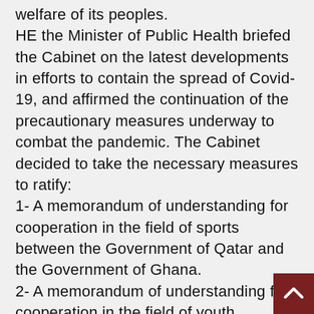welfare of its peoples. HE the Minister of Public Health briefed the Cabinet on the latest developments in efforts to contain the spread of Covid-19, and affirmed the continuation of the precautionary measures underway to combat the pandemic. The Cabinet decided to take the necessary measures to ratify:
1- A memorandum of understanding for cooperation in the field of sports between the Government of Qatar and the Government of Ghana.
2- A memorandum of understanding for cooperation in the field of youth between the government of Qatar and the government of Ghana.